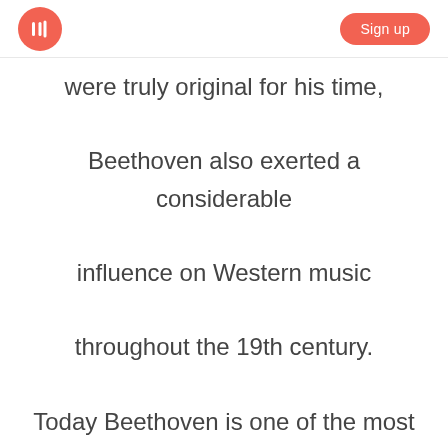M | Sign up
were truly original for his time, Beethoven also exerted a considerable influence on Western music throughout the 19th century. Today Beethoven is one of the most outstanding figures in the music history and one of the most famous pianists of all time. His Für Elise